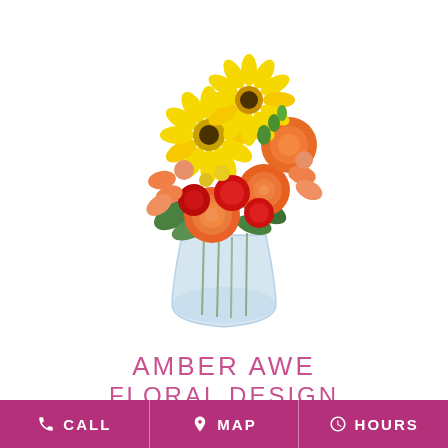[Figure (photo): Colorful floral arrangement in a clear glass vase featuring yellow gerbera daisies, orange roses, red carnations, orange alstroemeria, green berries, and mixed foliage on a white background.]
AMBER AWE
FLORAL DESIGN
CALL   MAP   HOURS